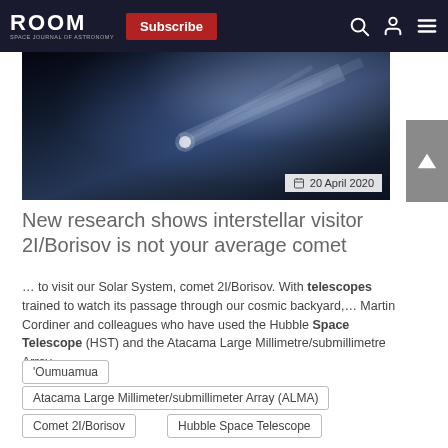ROOM | Subscribe
[Figure (photo): Space/nebula photograph showing comet or interstellar object with bluish-white streaks against dark space background. Date badge shows 20 April 2020.]
New research shows interstellar visitor 2I/Borisov is not your average comet
... to visit our Solar System, comet 2I/Borisov. With telescopes trained to watch its passage through our cosmic backyard,... Martin Cordiner and colleagues who have used the Hubble Space Telescope (HST) and the Atacama Large Millimetre/submillimetre Array...
'Oumuamua
Atacama Large Millimeter/submillimeter Array (ALMA)
Comet 2I/Borisov
Hubble Space Telescope
interstellar